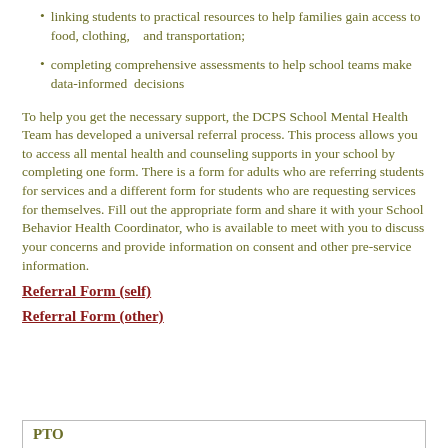linking students to practical resources to help families gain access to food, clothing,  and transportation;
completing comprehensive assessments to help school teams make data-informed decisions
To help you get the necessary support, the DCPS School Mental Health Team has developed a universal referral process. This process allows you to access all mental health and counseling supports in your school by completing one form. There is a form for adults who are referring students for services and a different form for students who are requesting services for themselves. Fill out the appropriate form and share it with your School Behavior Health Coordinator, who is available to meet with you to discuss your concerns and provide information on consent and other pre-service information.
Referral Form (self)
Referral Form (other)